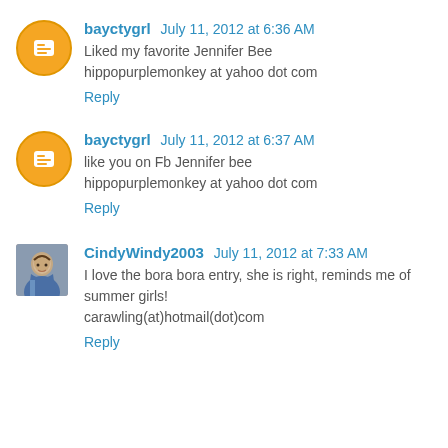bayctygrl July 11, 2012 at 6:36 AM
Liked my favorite Jennifer Bee hippopurplemonkey at yahoo dot com
Reply
bayctygrl July 11, 2012 at 6:37 AM
like you on Fb Jennifer bee hippopurplemonkey at yahoo dot com
Reply
CindyWindy2003 July 11, 2012 at 7:33 AM
I love the bora bora entry, she is right, reminds me of summer girls!
carawling(at)hotmail(dot)com
Reply